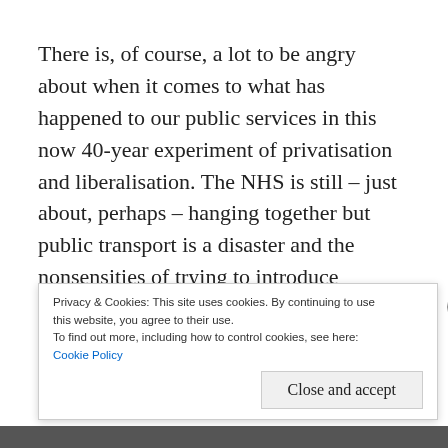There is, of course, a lot to be angry about when it comes to what has happened to our public services in this now 40-year experiment of privatisation and liberalisation. The NHS is still – just about, perhaps – hanging together but public transport is a disaster and the nonsensities of trying to introduce competition into the supply of essential services like energy has been, at best, a failure and at worst, a scandalous scheme under which the public has been ripped off with a deliberate view to the enrichment of
Privacy & Cookies: This site uses cookies. By continuing to use this website, you agree to their use.
To find out more, including how to control cookies, see here: Cookie Policy
Close and accept